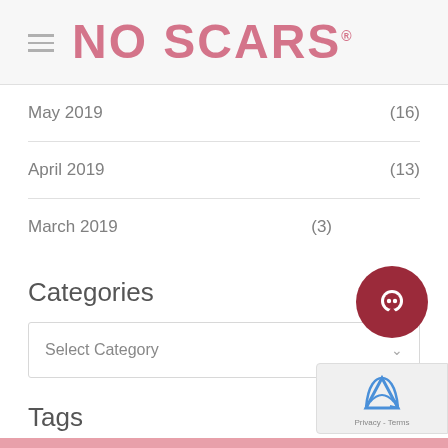NO SCARS
May 2019  (16)
April 2019  (13)
March 2019  (3)
Categories
Select Category
Tags